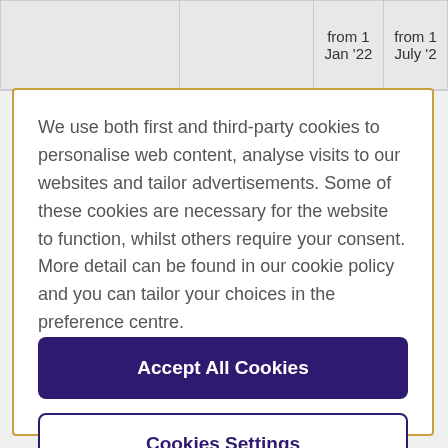|  |  | from 1 Jan '22 | from 1 July '2 |
| --- | --- | --- | --- |
We use both first and third-party cookies to personalise web content, analyse visits to our websites and tailor advertisements. Some of these cookies are necessary for the website to function, whilst others require your consent. More detail can be found in our cookie policy and you can tailor your choices in the preference centre.
Accept All Cookies
Cookies Settings